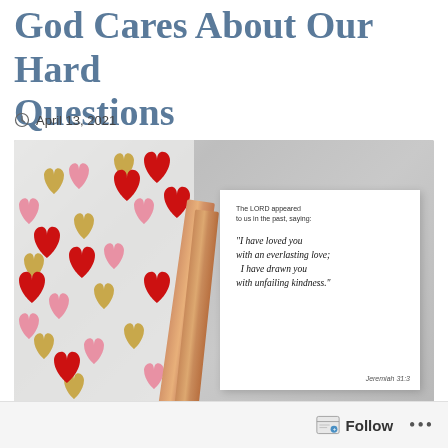God Cares About Our Hard Questions
April 13, 2021
[Figure (photo): Photo of colorful heart-shaped confetti (red, pink, gold) scattered on a white surface with two pencils, alongside a white card featuring a Bible verse from Jeremiah 31:3 that reads: 'The LORD appeared to us in the past, saying: I have loved you with an everlasting love; I have drawn you with unfailing kindness.']
Follow ...